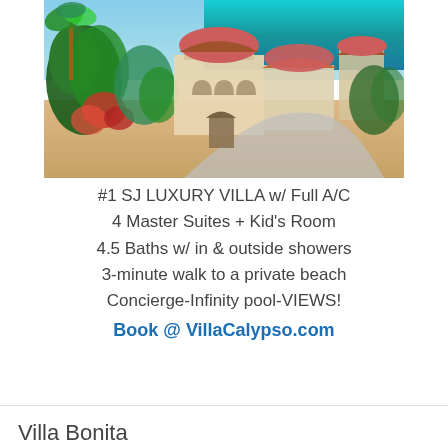[Figure (photo): Aerial view of a luxury Mediterranean-style villa with terracotta tile roofs, lush tropical gardens with bougainvillea, a pool area, and turquoise ocean water visible in the background.]
#1 SJ LUXURY VILLA w/ Full A/C
4 Master Suites + Kid's Room
4.5 Baths w/ in & outside showers
3-minute walk to a private beach
Concierge-Infinity pool-VIEWS!
Book @ VillaCalypso.com
Villa Bonita